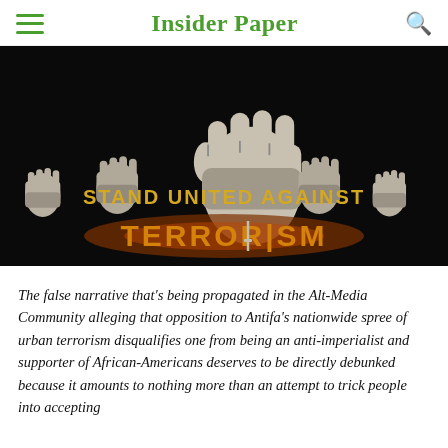Insider Paper
[Figure (illustration): Black background image with multiple raised fist silhouettes in white/grey. Text reads 'STAND UNITED AGAINST TERRORISM' in gold/orange bold letters, with a stylized rifle replacing the 'I' in TERRORISM.]
The false narrative that's being propagated in the Alt-Media Community alleging that opposition to Antifa's nationwide spree of urban terrorism disqualifies one from being an anti-imperialist and supporter of African-Americans deserves to be directly debunked because it amounts to nothing more than an attempt to trick people into accepting